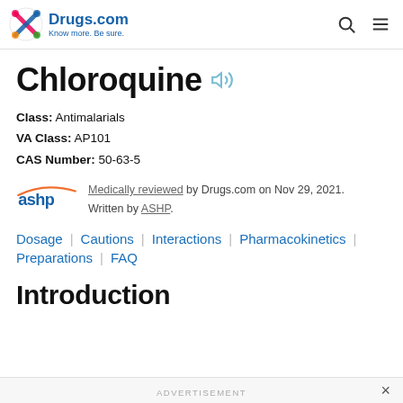Drugs.com – Know more. Be sure.
Chloroquine
Class: Antimalarials
VA Class: AP101
CAS Number: 50-63-5
Medically reviewed by Drugs.com on Nov 29, 2021. Written by ASHP.
Dosage | Cautions | Interactions | Pharmacokinetics | Preparations | FAQ
Introduction